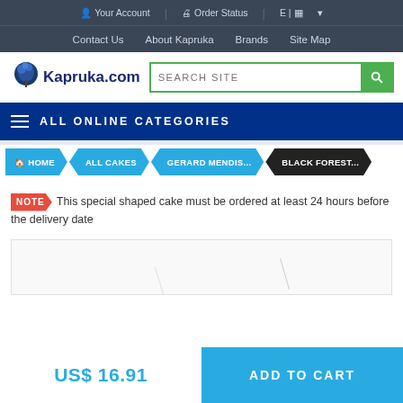Your Account | Order Status | E | ▼
Contact Us  About Kapruka  Brands  Site Map
[Figure (logo): Kapruka.com logo with tree icon]
SEARCH SITE
ALL ONLINE CATEGORIES
HOME > ALL CAKES > GERARD MENDIS... > BLACK FOREST...
NOTE This special shaped cake must be ordered at least 24 hours before the delivery date
US$ 16.91
ADD TO CART